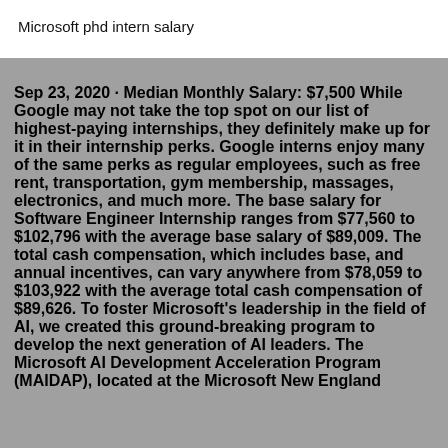Microsoft phd intern salary
Sep 23, 2020 · Median Monthly Salary: $7,500 While Google may not take the top spot on our list of highest-paying internships, they definitely make up for it in their internship perks. Google interns enjoy many of the same perks as regular employees, such as free rent, transportation, gym membership, massages, electronics, and much more. The base salary for Software Engineer Internship ranges from $77,560 to $102,796 with the average base salary of $89,009. The total cash compensation, which includes base, and annual incentives, can vary anywhere from $78,059 to $103,922 with the average total cash compensation of $89,626. To foster Microsoft's leadership in the field of AI, we created this ground-breaking program to develop the next generation of AI leaders. The Microsoft AI Development Acceleration Program (MAIDAP), located at the Microsoft New England